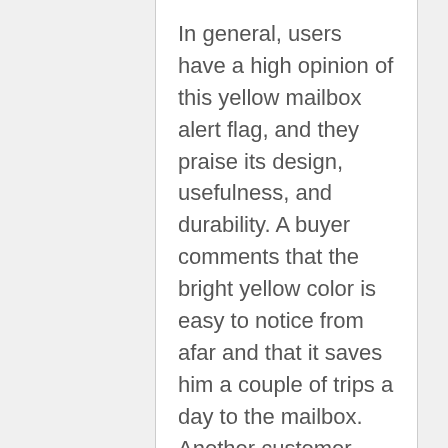In general, users have a high opinion of this yellow mailbox alert flag, and they praise its design, usefulness, and durability. A buyer comments that the bright yellow color is easy to notice from afar and that it saves him a couple of trips a day to the mailbox. Another customer shares that the mailbox replacement flag alert works without a glitch and that he gladly bought another one for his elderly parents.